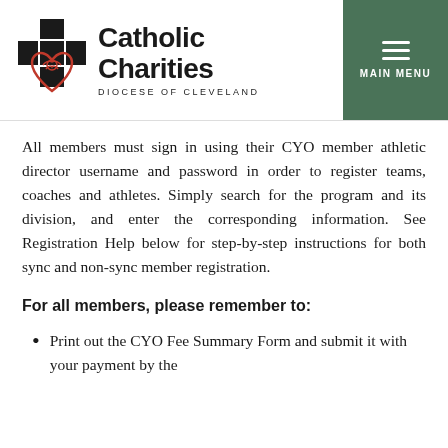[Figure (logo): Catholic Charities Diocese of Cleveland logo with cross and heart symbol]
All members must sign in using their CYO member athletic director username and password in order to register teams, coaches and athletes. Simply search for the program and its division, and enter the corresponding information. See Registration Help below for step-by-step instructions for both sync and non-sync member registration.
For all members, please remember to:
Print out the CYO Fee Summary Form and submit it with your payment by the